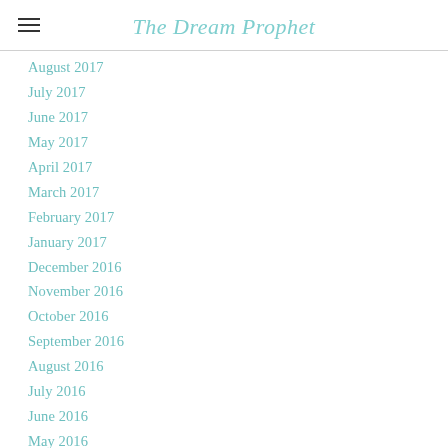The Dream Prophet
August 2017
July 2017
June 2017
May 2017
April 2017
March 2017
February 2017
January 2017
December 2016
November 2016
October 2016
September 2016
August 2016
July 2016
June 2016
May 2016
April 2016
March 2016